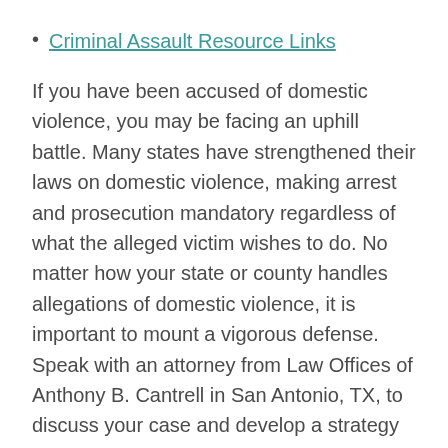Criminal Assault Resource Links
If you have been accused of domestic violence, you may be facing an uphill battle. Many states have strengthened their laws on domestic violence, making arrest and prosecution mandatory regardless of what the alleged victim wishes to do. No matter how your state or county handles allegations of domestic violence, it is important to mount a vigorous defense. Speak with an attorney from Law Offices of Anthony B. Cantrell in San Antonio, TX, to discuss your case and develop a strategy for fighting the charges.
Prosecution and defense